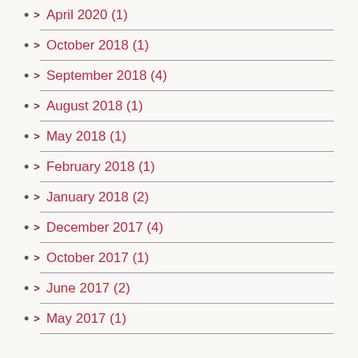> April 2020 (1)
> October 2018 (1)
> September 2018 (4)
> August 2018 (1)
> May 2018 (1)
> February 2018 (1)
> January 2018 (2)
> December 2017 (4)
> October 2017 (1)
> June 2017 (2)
> May 2017 (1)